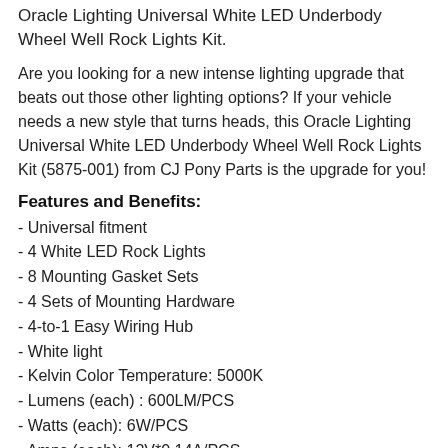Oracle Lighting Universal White LED Underbody Wheel Well Rock Lights Kit.
Are you looking for a new intense lighting upgrade that beats out those other lighting options? If your vehicle needs a new style that turns heads, this Oracle Lighting Universal White LED Underbody Wheel Well Rock Lights Kit (5875-001) from CJ Pony Parts is the upgrade for you!
Features and Benefits:
- Universal fitment
- 4 White LED Rock Lights
- 8 Mounting Gasket Sets
- 4 Sets of Mounting Hardware
- 4-to-1 Easy Wiring Hub
- White light
- Kelvin Color Temperature: 5000K
- Lumens (each) : 600LM/PCS
- Watts (each): 6W/PCS
- Amps (each): 12V*0.14A/PCS
- Ingress Protection: IP67